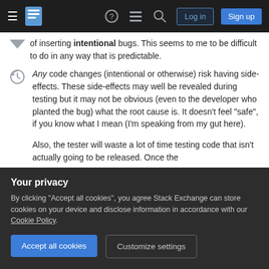Stack Exchange navigation bar with Log in and Sign up buttons
of inserting intentional bugs. This seems to me to be difficult to do in any way that is predictable.
Any code changes (intentional or otherwise) risk having side-effects. These side-effects may well be revealed during testing but it may not be obvious (even to the developer who planted the bug) what the root cause is. It doesn't feel "safe", if you know what I mean (I'm speaking from my gut here).
Also, the tester will waste a lot of time testing code that isn't actually going to be released. Once the
Your privacy
By clicking "Accept all cookies", you agree Stack Exchange can store cookies on your device and disclose information in accordance with our Cookie Policy.
Accept all cookies
Customize settings